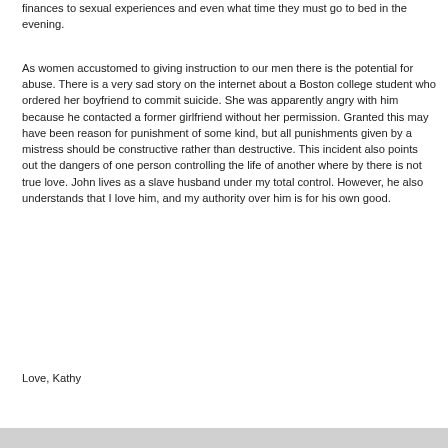finances to sexual experiences and even what time they must go to bed in the evening.
As women accustomed to giving instruction to our men there is the potential for abuse. There is a very sad story on the internet about a Boston college student who ordered her boyfriend to commit suicide. She was apparently angry with him because he contacted a former girlfriend without her permission. Granted this may have been reason for punishment of some kind, but all punishments given by a mistress should be constructive rather than destructive. This incident also points out the dangers of one person controlling the life of another where by there is not true love. John lives as a slave husband under my total control. However, he also understands that I love him, and my authority over him is for his own good.
Love, Kathy